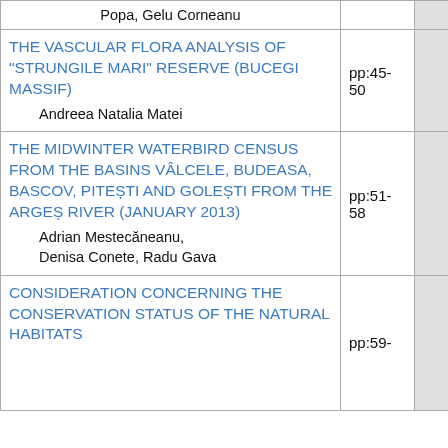| Article Title / Author | Pages |  |
| --- | --- | --- |
| Popa, Gelu Corneanu |  |  |
| THE VASCULAR FLORA ANALYSIS OF "STRUNGILE MARI" RESERVE (BUCEGI MASSIF)
Andreea Natalia Matei | pp:45-50 |  |
| THE MIDWINTER WATERBIRD CENSUS FROM THE BASINS VÂLCELE, BUDEASA, BASCOV, PITEȘTI AND GOLEȘTI FROM THE ARGEȘ RIVER (JANUARY 2013)
Adrian Mestecăneanu, Denisa Conete, Radu Gava | pp:51-58 |  |
| CONSIDERATION CONCERNING THE CONSERVATION STATUS OF THE NATURAL HABITATS... | pp:59- |  |